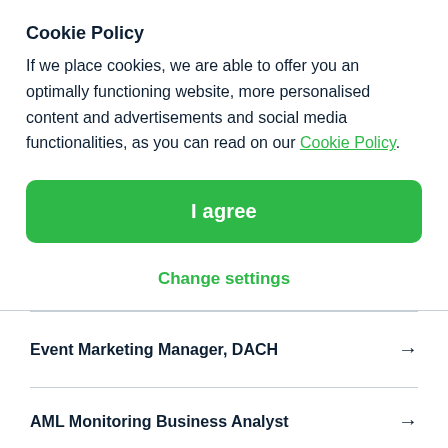Cookie Policy
If we place cookies, we are able to offer you an optimally functioning website, more personalised content and advertisements and social media functionalities, as you can read on our Cookie Policy.
I agree
Change settings
Event Marketing Manager, DACH →
AML Monitoring Business Analyst →